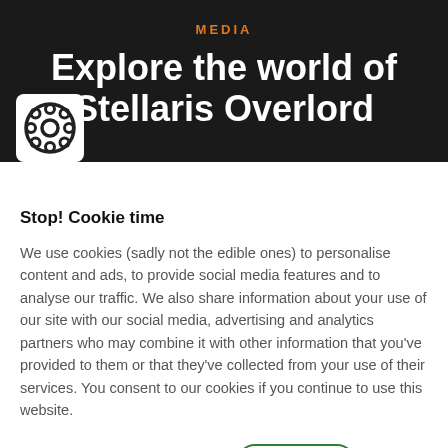MEDIA
Explore the world of Stellaris Overlord
[Figure (illustration): Film reel icon in white square on dark background]
Stop! Cookie time
We use cookies (sadly not the edible ones) to personalise content and ads, to provide social media features and to analyse our traffic. We also share information about your use of our site with our social media, advertising and analytics partners who may combine it with other information that you've provided to them or that they've collected from your use of their services. You consent to our cookies if you continue to use this website.
Manage cookies   I ACCEPT